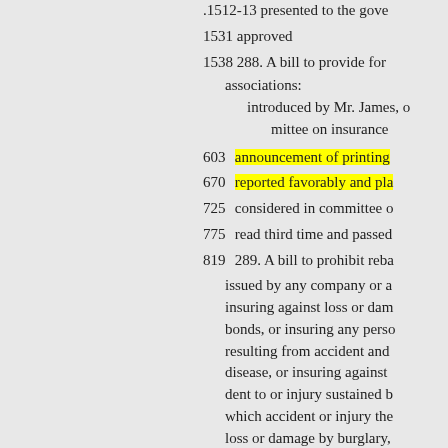.1512-13 presented to the gove
1531 approved
1538 288. A bill to provide for
associations:
introduced by Mr. James, c
mittee on insurance
603 announcement of printing
670 reported favorably and pla
725 considered in committee o
775 read third time and passed
819 289. A bill to prohibit reba
issued by any company or a insuring against loss or dam bonds, or insuring any perso resulting from accident and disease, or insuring against dent to or injury sustained b which accident or injury the loss or damage by burglary, against glass breakage, or i